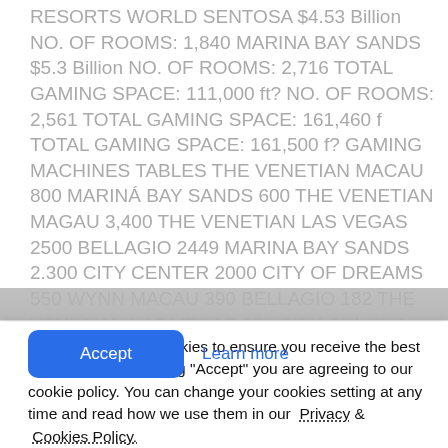RESORTS WORLD SENTOSA $4.53 Billion NO. OF ROOMS: 1,840 MARINA BAY SANDS $5.3 Billion NO. OF ROOMS: 2,716 TOTAL GAMING SPACE: 111,000 ft? NO. OF ROOMS: 2,561 TOTAL GAMING SPACE: 161,460 f TOTAL GAMING SPACE: 161,500 f? GAMING MACHINES TABLES THE VENETIAN MACAU 800 MARINÁ BAY SANDS 600 THE VENETIAN MAGAU 3,400 THE VENETIAN LAS VEGAS 2500 BELLAGIO 2449 MARINA BAY SANDS 2.300 CITY CENTER 2000 CITY OF DREAMS 550 WYNN MACAU 390 BELLAGIO 182 THE VENETIAN LAS VEGAS 178 CITY CENTER 174 WYNN LAS VEGAS 137 WYNN LAS VEGAS, 1,960 CITY OF DREAMS 1,500 WYNN MACAU 1190 ENCORE LAS
This website uses cookies to ensure you receive the best experience. By clicking "Accept" you are agreeing to our cookie policy. You can change your cookies setting at any time and read how we use them in our Privacy & Cookies Policy.
Accept
Learn more